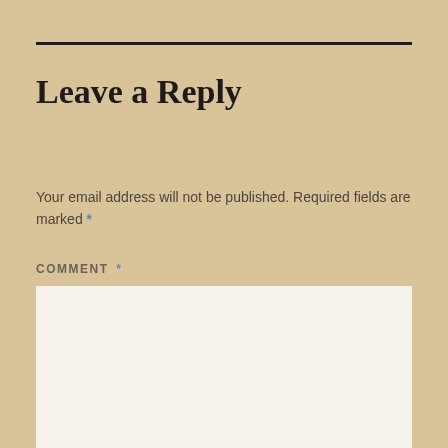Leave a Reply
Your email address will not be published. Required fields are marked *
COMMENT *
[Figure (other): Empty comment text area input box with light beige/white background]